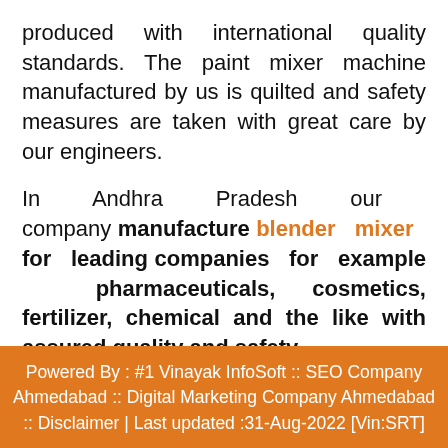produced with international quality standards. The paint mixer machine manufactured by us is quilted and safety measures are taken with great care by our engineers.
In Andhra Pradesh our company manufacture blender mixer for leading companies for example pharmaceuticals, cosmetics, fertilizer, chemical and the like with assured quality and safety.
Powered By : #1 Vinayak InfoSoft :: SEO Company Ahmedabad :: Digital Marketing Company Ahmedabad :: Disclaimer | Last updated :31-Aug-2022 [Vin:SRT]